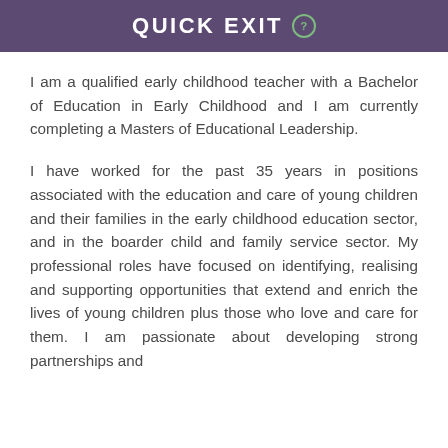QUICK EXIT ?
I am a qualified early childhood teacher with a Bachelor of Education in Early Childhood and I am currently completing a Masters of Educational Leadership.
I have worked for the past 35 years in positions associated with the education and care of young children and their families in the early childhood education sector, and in the boarder child and family service sector. My professional roles have focused on identifying, realising and supporting opportunities that extend and enrich the lives of young children plus those who love and care for them. I am passionate about developing strong partnerships and